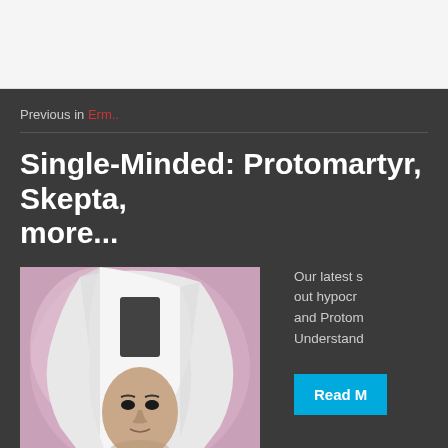Previous in Erm..
Single-Minded: Protomartyr, Skepta, more...
[Figure (photo): Black and white photograph of a young person wearing a white head covering/veil against a pink-tinted background]
Our latest s... out hypocr... and Protom... Understand...
Read M...